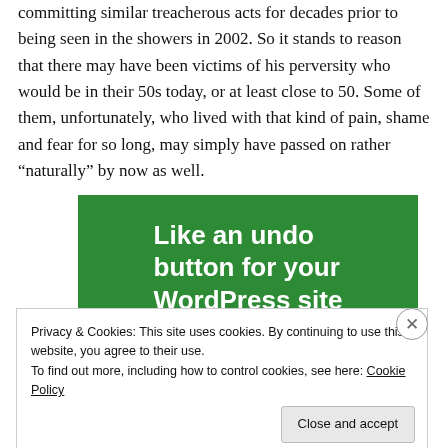committing similar treacherous acts for decades prior to being seen in the showers in 2002. So it stands to reason that there may have been victims of his perversity who would be in their 50s today, or at least close to 50. Some of them, unfortunately, who lived with that kind of pain, shame and fear for so long, may simply have passed on rather “naturally” by now as well.
[Figure (other): Green advertisement banner reading 'Like an undo button for your WordPress site']
Privacy & Cookies: This site uses cookies. By continuing to use this website, you agree to their use.
To find out more, including how to control cookies, see here: Cookie Policy